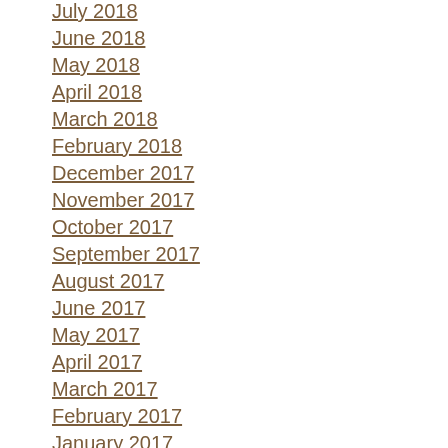July 2018
June 2018
May 2018
April 2018
March 2018
February 2018
December 2017
November 2017
October 2017
September 2017
August 2017
June 2017
May 2017
April 2017
March 2017
February 2017
January 2017
December 2016
November 2016